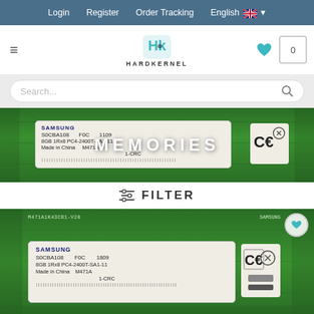Login   Register   Order Tracking   English
[Figure (logo): Hardkernel logo with HK stylized icon and HARDKERNEL text below]
[Figure (screenshot): Search bar with placeholder text Search...]
[Figure (photo): Samsung DDR4 SO-DIMM memory module close-up with MEMORIES text overlay]
FILTER
[Figure (photo): Samsung DDR4 SO-DIMM memory module 8GB 1Rx8 PC4-2400T-SA1-11 Made in China M471A 1-CRC with wishlist heart icon]